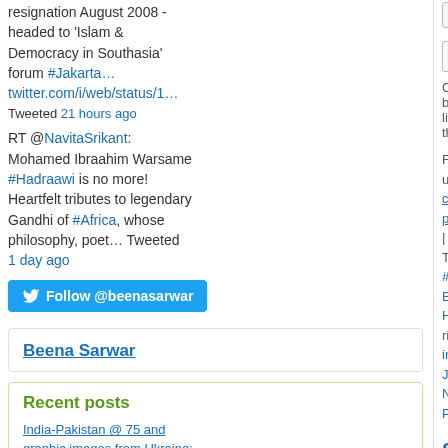resignation August 2008 - headed to 'Islam & Democracy in Southasia' forum #Jakarta… twitter.com/i/web/status/1… Tweeted 21 hours ago
RT @NavitaSrikant: Mohamed Ibraahim Warsame #Hadraawi is no more! Heartfelt tributes to legendary Gandhi of #Africa, whose philosophy, poet… Tweeted 1 day ago
Follow @beenasarwar
Beena Sarwar
Recent posts
India-Pakistan @ 75 and graphic images from Ukraine: Two articles and some
LinkedIn  Pinterest  Print
Like  One blogger likes this.
Filed under: capital punishment | Tagged: #Sav… Bhutto, Human rights, injustice, Jibran Nasir, Pa…
So beautiful and so bitter: Fati… truth
Posted on April 30, 2010 by beenasarwar
[Figure (photo): A young woman with dark curly hair, partial face photo]